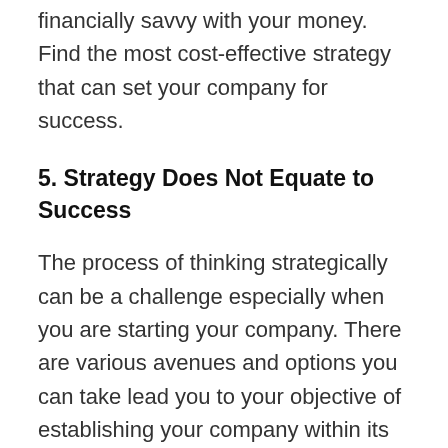financially savvy with your money. Find the most cost-effective strategy that can set your company for success.
5. Strategy Does Not Equate to Success
The process of thinking strategically can be a challenge especially when you are starting your company. There are various avenues and options you can take lead you to your objective of establishing your company within its perspective field. As much you want to believe that your strategies will take you to your end goal, you need to realize that you will have to inevitably revise, edit, and change your strategy time-and-time again. This happens because, throughout the course of your business, things will change. Because of these unknown changes, you have to be malleable and adaptive to this type of change. Make sure you are able to keep up the pace by changing your strategy when needed. It is that type of change that